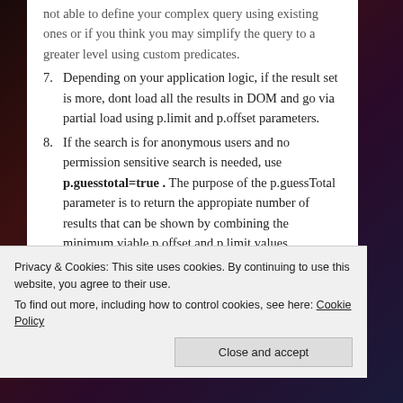not able to define your complex query using existing ones or if you think you may simplify the query to a greater level using custom predicates.
7. Depending on your application logic, if the result set is more, dont load all the results in DOM and go via partial load using p.limit and p.offset parameters.
8. If the search is for anonymous users and no permission sensitive search is needed, use p.guesstotal=true . The purpose of the p.guessTotal parameter is to return the appropiate number of results that can be shown by combining the minimum viable p.offset and p.limit values. Basically it stops the permission check for that session on each node of the result set and makes the Search query
Privacy & Cookies: This site uses cookies. By continuing to use this website, you agree to their use. To find out more, including how to control cookies, see here: Cookie Policy
Close and accept